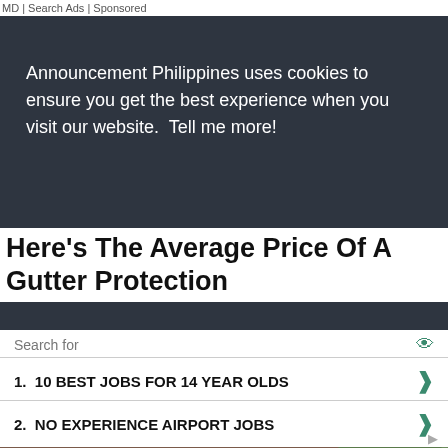MD | Search Ads | Sponsored
Announcement Philippines uses cookies to ensure you get the best experience when you visit our website.  Tell me more!
I AGREE
[Figure (photo): A person cleaning gutters on a roof, wearing work gloves and tool belt, with roofing shingles and trees visible in background]
Here's The Average Price Of A Gutter Protection
Search for
1.  10 BEST JOBS FOR 14 YEAR OLDS
2.  NO EXPERIENCE AIRPORT JOBS